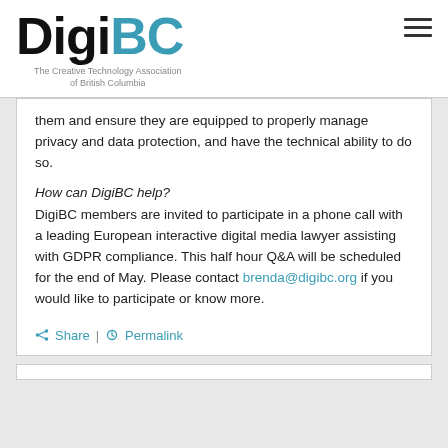DigiBC – The Creative Technology Association of British Columbia
them and ensure they are equipped to properly manage privacy and data protection, and have the technical ability to do so.
How can DigiBC help?
DigiBC members are invited to participate in a phone call with a leading European interactive digital media lawyer assisting with GDPR compliance. This half hour Q&A will be scheduled for the end of May. Please contact brenda@digibc.org if you would like to participate or know more.
Share | Permalink